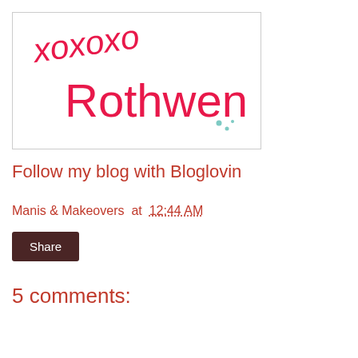[Figure (illustration): Handwritten signature reading 'xoxoxo Rothwen' in pink/red cursive script with small teal decorative dots, inside a bordered rectangle]
Follow my blog with Bloglovin
Manis & Makeovers at 12:44 AM
Share
5 comments: